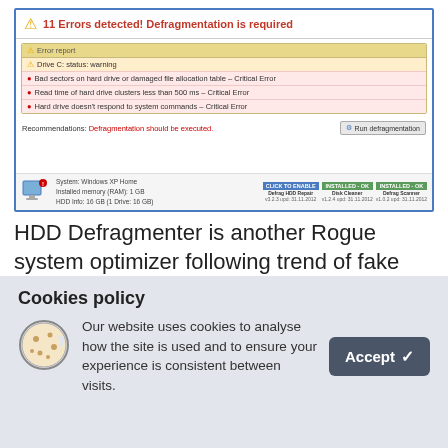[Figure (screenshot): Screenshot of HDD Defragmenter rogue software interface showing '11 Errors detected! Defragmentation is required' warning with error report listing critical errors including 'Bad sectors on hard drive or damaged file allocation table - Critical Error', 'Read time of hard drive clusters less than 500 ms - Critical Error', 'Hard drive doesn't respond to system commands - Critical Error'. Recommendations bar says 'Defragmentation should be executed.' with Run defragmentation button. Bottom shows system info: Windows XP Home, RAM 1 GB, HDD 16 GB.]
HDD Defragmenter is another Rogue system optimizer following trend of fake Hardware and Disk scanners like Smart Defragmenter and System Defragmenter. This type of software is
Cookies policy
Our website uses cookies to analyse how the site is used and to ensure your experience is consistent between visits.